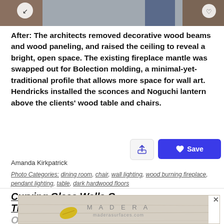[Figure (photo): Top cropped photo showing interior design scene with a person in blue and dark wood shelving visible]
After: The architects removed decorative wood beams and wood paneling, and raised the ceiling to reveal a bright, open space. The existing fireplace mantle was swapped out for Bolection molding, a minimal-yet-traditional profile that allows more space for wall art. Hendricks installed the sconces and Noguchi lantern above the clients' wood table and chairs.
Amanda Kirkpatrick
Photo Categories: dining room, chair, wall lighting, wood burning fireplace, pendant lighting, table, dark hardwood floors
Curving Glass Walls G... Traditional Beijing Home an Oth...
[Figure (photo): Advertisement banner showing MADERA surfaces brand with a yellow leaf on wood flooring texture, maderasurfaces.com]
ARCHISTUDIO...